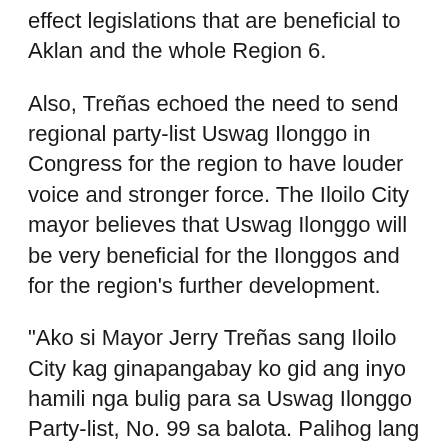effect legislations that are beneficial to Aklan and the whole Region 6.
Also, Treñas echoed the need to send regional party-list Uswag Ilonggo in Congress for the region to have louder voice and stronger force. The Iloilo City mayor believes that Uswag Ilonggo will be very beneficial for the Ilonggos and for the region's further development.
“Ako si Mayor Jerry Treñas sang Iloilo City kag ginapangabay ko gid ang inyo hamili nga bulig para sa Uswag Ilonggo Party-list, No. 99 sa balota. Palihog lang siguruhon ta ang pag-uswag sang aton nga probinsya, ang aton syudad, ang aton rehiyon. Buligan ta gid ang Uswag Ilonggo,